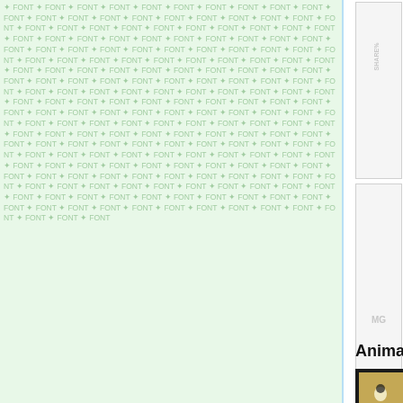[Figure (other): Left panel background with repeated watermark/tiled text pattern on light green background with blue right border]
[Figure (other): Placeholder image box 1 with light gray background and 'SHARE' watermark text]
[Figure (other): Placeholder image box 2 with light gray background and 'MG' watermark text]
Animated Graphics
[Figure (photo): Animated cartoon scene in sepia/vintage style showing a smiling cartoon character with a flower on head, set against a vintage backdrop with dark border framing]